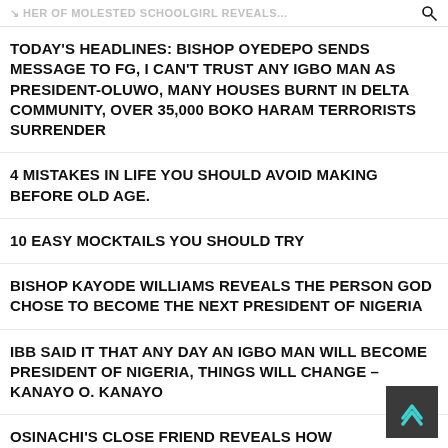HER OF MOLESTED SCHOOLGIRL REVEALS...
TODAY'S HEADLINES: BISHOP OYEDEPO SENDS MESSAGE TO FG, I CAN'T TRUST ANY IGBO MAN AS PRESIDENT-OLUWO, MANY HOUSES BURNT IN DELTA COMMUNITY, OVER 35,000 BOKO HARAM TERRORISTS SURRENDER
4 MISTAKES IN LIFE YOU SHOULD AVOID MAKING BEFORE OLD AGE.
10 EASY MOCKTAILS YOU SHOULD TRY
BISHOP KAYODE WILLIAMS REVEALS THE PERSON GOD CHOSE TO BECOME THE NEXT PRESIDENT OF NIGERIA
IBB SAID IT THAT ANY DAY AN IGBO MAN WILL BECOME PRESIDENT OF NIGERIA, THINGS WILL CHANGE – KANAYO O. KANAYO
OSINACHI'S CLOSE FRIEND REVEALS HOW PETER ALLEGEDLY GAVE OSINACHI MONEY TO SLEEP IN A BROTHEL